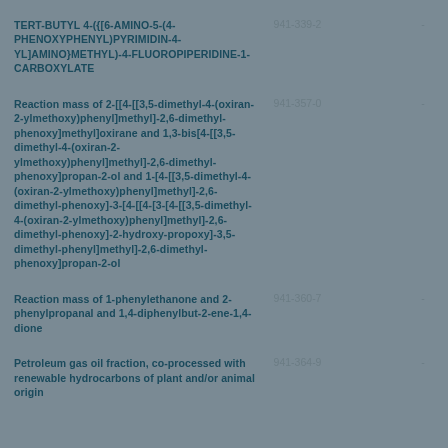| Name | EC Number |  |
| --- | --- | --- |
| TERT-BUTYL 4-({[6-AMINO-5-(4-PHENOXYPHENYL)PYRIMIDIN-4-YL]AMINO}METHYL)-4-FLUOROPIPERIDINE-1-CARBOXYLATE | 941-339-2 | - |
| Reaction mass of 2-[[4-[[3,5-dimethyl-4-(oxiran-2-ylmethoxy)phenyl]methyl]-2,6-dimethyl-phenoxy]methyl]oxirane and 1,3-bis[4-[[3,5-dimethyl-4-(oxiran-2-ylmethoxy)phenyl]methyl]-2,6-dimethyl-phenoxy]propan-2-ol and 1-[4-[[3,5-dimethyl-4-(oxiran-2-ylmethoxy)phenyl]methyl]-2,6-dimethyl-phenoxy]-3-[4-[[4-[3-[4-[[3,5-dimethyl-4-(oxiran-2-ylmethoxy)phenyl]methyl]-2,6-dimethyl-phenoxy]-2-hydroxy-propoxy]-3,5-dimethyl-phenyl]methyl]-2,6-dimethyl-phenoxy]propan-2-ol | 941-357-0 | - |
| Reaction mass of 1-phenylethanone and 2-phenylpropanal and 1,4-diphenylbut-2-ene-1,4-dione | 941-360-7 | - |
| Petroleum gas oil fraction, co-processed with renewable hydrocarbons of plant and/or animal origin | 941-364-9 | - |